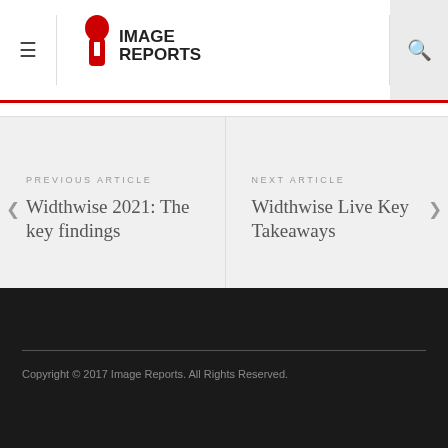Image Reports
PREVIOUS ARTICLE
Widthwise 2021: The key findings
NEXT ARTICLE
Widthwise Live Key Takeaways
Copyright © 2017 Image Reports. All Rights Reserved.